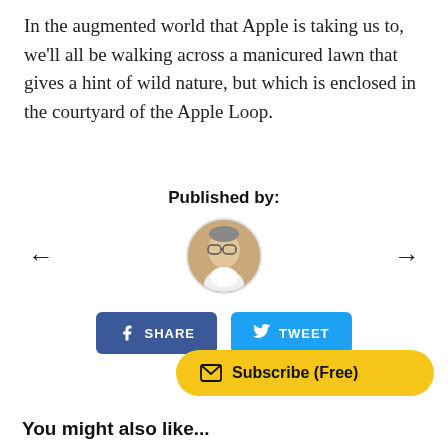In the augmented world that Apple is taking us to, we'll all be walking across a manicured lawn that gives a hint of wild nature, but which is enclosed in the courtyard of the Apple Loop.
Published by:
[Figure (photo): Circular avatar photo of an older man with glasses and white jacket]
[Figure (infographic): Left arrow navigation button]
[Figure (infographic): Right arrow navigation button]
[Figure (infographic): Share button (Facebook blue) with text SHARE and Tweet button (Twitter blue) with text TWEET]
[Figure (infographic): Yellow Subscribe (Free) button with envelope icon]
You might also like...